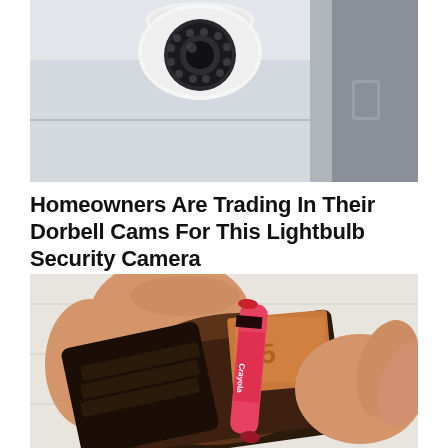[Figure (photo): Security camera mounted on ceiling/wall, white dome camera with multiple lenses, photographed from below against a light gray background]
Homeowners Are Trading In Their Dorbell Cams For This Lightbulb Security Camera
Keilini
[Figure (photo): Hands holding open a brown leather wallet containing a pink/red Crayola crayon and euro banknotes, on a white wooden background]